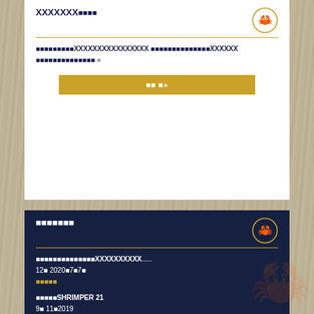XXXXXXX☐☐☐☐
☐☐☐☐☐☐☐☐☐XXXXXXXXXXXXXXXX ☐☐☐☐☐☐☐☐☐☐☐☐☐☐XXXXXX ☐☐☐☐☐☐☐☐☐☐☐☐☐☐ »
☐☐☐»
☐☐☐☐☐☐☐
☐☐☐☐☐☐☐☐☐☐☐☐☐☐XXXXXXXXXX..... 12☐ 2020☐ 7☐ 7☐
☐☐☐☐☐
☐☐☐☐☐SHRIMPER 21 9☐ 11☐ 2019
☐☐☐☐☐
☐☐☐☐
☐☐☐☐☐☐☐☐☐☐☐☐☐☐☐☐☐☐Crabbers☐☐☐☐☐☐☐☐☐☐ ☐☐☐☐☐☐☐ViewXXXXXXXXXXXXXXXX »
VIEW☐☐☐☐»